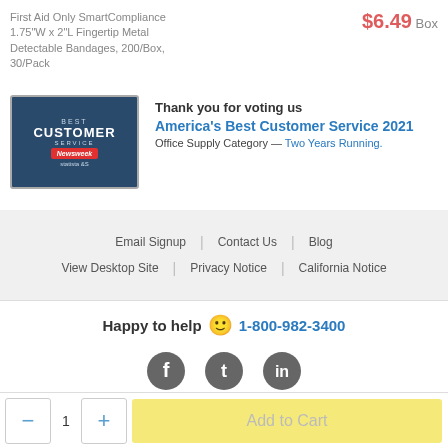First Aid Only SmartCompliance 1.75"W x 2"L Fingertip Metal Detectable Bandages, 200/Box, 30/Pack
$6.49 Box
[Figure (logo): Best Customer Service badge with Newsweek logo on dark blue background]
Thank you for voting us America's Best Customer Service 2021 Office Supply Category — Two Years Running.
Email Signup | Contact Us | Blog
View Desktop Site | Privacy Notice | California Notice
Happy to help 🙂 1-800-982-3400
[Figure (illustration): Social media icons: Facebook, Twitter, LinkedIn]
Cookie Preferences
Do Not Sell My Personal Information
© 2022 Quill.com